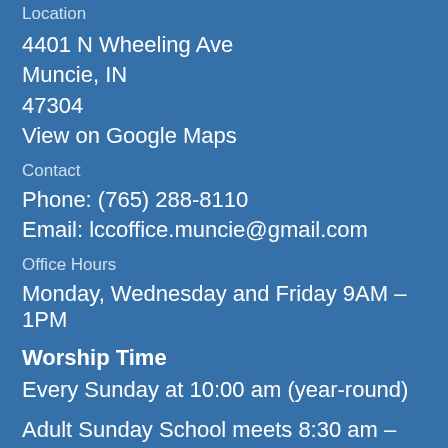Location
4401 N Wheeling Ave
Muncie, IN
47304
View on Google Maps
Contact
Phone:  (765) 288-8110
Email:  lccoffice.muncie@gmail.com
Office Hours
Monday, Wednesday and Friday 9AM – 1PM
Worship Time
Every Sunday at 10:00 am (year-round)
Adult Sunday School meets 8:30 am – 9:30 am
Children's Sunday School meets 9:00am – 9:45am